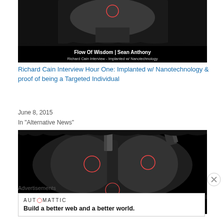[Figure (photo): Black and white X-ray / medical scan image thumbnail with 'Flow Of Wisdom | Sean Anthony' and 'Richard Cain Interview - Implanted w/ Nanotechnology' text overlay on black bar at bottom. Shows a face/neck X-ray with a red circle annotation.]
Richard Cain Interview Hour One: Implanted w/ Nanotechnology & proof of being a Targeted Individual
June 8, 2015
In "Alternative News"
[Figure (photo): Black and white chest X-ray image with red circle annotations highlighting areas, and 'Flow Of Wisdom | Sean Anthony' and 'Richard Cain Interview - Implanted w/ Nanotechnology' text overlay on black bar at bottom.]
Advertisements
AUTOMATTIC
Build a better web and a better world.